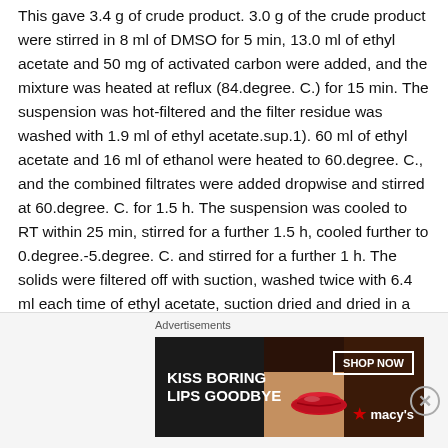This gave 3.4 g of crude product. 3.0 g of the crude product were stirred in 8 ml of DMSO for 5 min, 13.0 ml of ethyl acetate and 50 mg of activated carbon were added, and the mixture was heated at reflux (84.degree. C.) for 15 min. The suspension was hot-filtered and the filter residue was washed with 1.9 ml of ethyl acetate.sup.1). 60 ml of ethyl acetate and 16 ml of ethanol were heated to 60.degree. C., and the combined filtrates were added dropwise and stirred at 60.degree. C. for 1.5 h. The suspension was cooled to RT within 25 min, stirred for a further 1.5 h, cooled further to 0.degree.-5.degree. C. and stirred for a further 1 h. The solids were filtered off with suction, washed twice with 6.4 ml each time of ethyl acetate, suction dried and dried in a vacuum drying
[Figure (other): Advertisement banner: 'KISS BORING LIPS GOODBYE' with SHOP NOW button and Macy's logo, showing a close-up photo of a woman's lips]